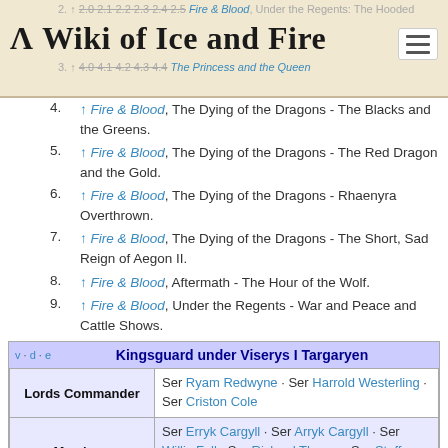A Wiki of Ice and Fire
4. ↑ Fire & Blood, The Dying of the Dragons - The Blacks and the Greens.
5. ↑ Fire & Blood, The Dying of the Dragons - The Red Dragon and the Gold.
6. ↑ Fire & Blood, The Dying of the Dragons - Rhaenyra Overthrown.
7. ↑ Fire & Blood, The Dying of the Dragons - The Short, Sad Reign of Aegon II.
8. ↑ Fire & Blood, Aftermath - The Hour of the Wolf.
9. ↑ Fire & Blood, Under the Regents - War and Peace and Cattle Shows.
|  | Kingsguard under Viserys I Targaryen |
| --- | --- |
| Lords Commander | Ser Ryam Redwyne · Ser Harrold Westerling · Ser Criston Cole |
| Members | Ser Erryk Cargyll · Ser Arryk Cargyll · Ser Willis Fell · Ser Rickard Thorne · Ser Steffon Darklyn · Ser Lorent Marbrand |
|  | Kingsguard under Aegon II Targaryen |
| --- | --- |
| Lord Commanders | Ser Criston Cole |
| Members | Ser Arryk Cargyll · Ser Willis Fell · Ser Rickard Thorne · Ser Marston Waters · Ser Gyles Belgrave |